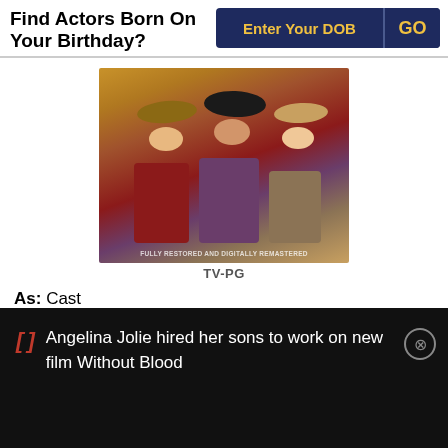Find Actors Born On Your Birthday?
Enter Your DOB
GO
[Figure (photo): Movie poster showing three men in cowboy hats (western theme). Text at bottom reads FULLY RESTORED AND DIGITALLY REMASTERED.]
TV-PG
As: Cast
Director: Don McDougall, Abner Biberman, Anton Leader, William Witney, James Sheldon
Angelina Jolie hired her sons to work on new film Without Blood